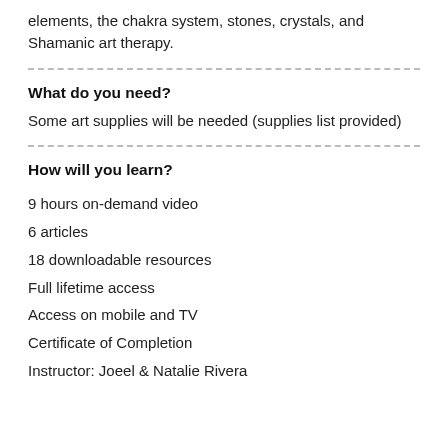elements, the chakra system, stones, crystals, and Shamanic art therapy.
What do you need?
Some art supplies will be needed (supplies list provided)
How will you learn?
9 hours on-demand video
6 articles
18 downloadable resources
Full lifetime access
Access on mobile and TV
Certificate of Completion
Instructor: Joeel & Natalie Rivera